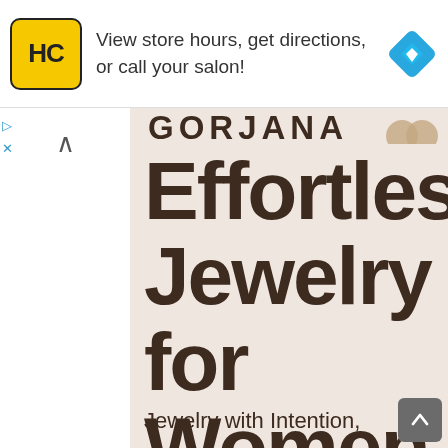[Figure (screenshot): Ad banner with HC salon logo (yellow square with HC text), text 'View store hours, get directions, or call your salon!', and a blue diamond navigation arrow icon on the right]
GORJANA
Effortless Jewelry for Women
Jewelry with Intention,